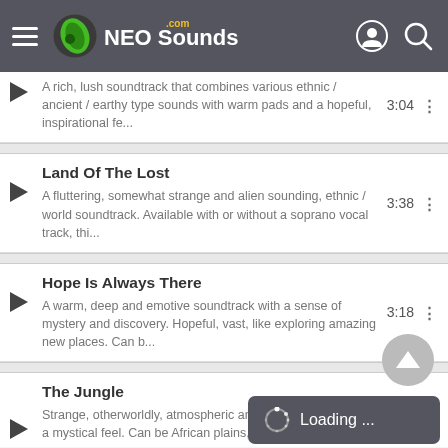NEO Sounds .com
A rich, lush soundtrack that combines various ethnic / ancient / earthy type sounds with warm pads and a hopeful, inspirational fe... 3:04
Land Of The Lost
A fluttering, somewhat strange and alien sounding, ethnic / world soundtrack. Available with or without a soprano vocal track, thi... 3:38
Hope Is Always There
A warm, deep and emotive soundtrack with a sense of mystery and discovery. Hopeful, vast, like exploring amazing new places. Can b... 3:18
The Jungle
Strange, otherworldly, atmospheric and ambient World/Ethno track with a mystical feel. Can be African plains, Middle Eastern decor...
Loading ...